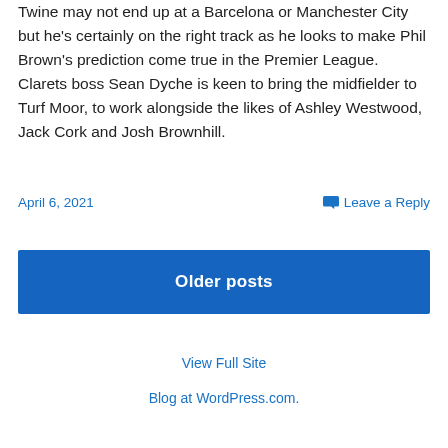Twine may not end up at a Barcelona or Manchester City but he's certainly on the right track as he looks to make Phil Brown's prediction come true in the Premier League. Clarets boss Sean Dyche is keen to bring the midfielder to Turf Moor, to work alongside the likes of Ashley Westwood, Jack Cork and Josh Brownhill.
April 6, 2021
Leave a Reply
Older posts
View Full Site
Blog at WordPress.com.